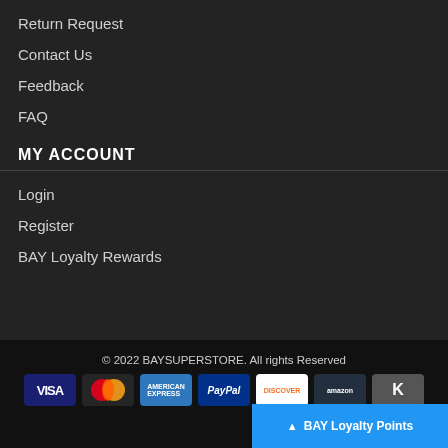Return Request
Contact Us
Feedback
FAQ
MY ACCOUNT
Login
Register
BAY Loyalty Rewards
© 2022 BAYSUPERSTORE. All rights Reserved
[Figure (other): Payment method icons: VISA, MasterCard, American Express, PayPal, Discover, Amazon, and one partially visible icon]
BAY Loyalty Points